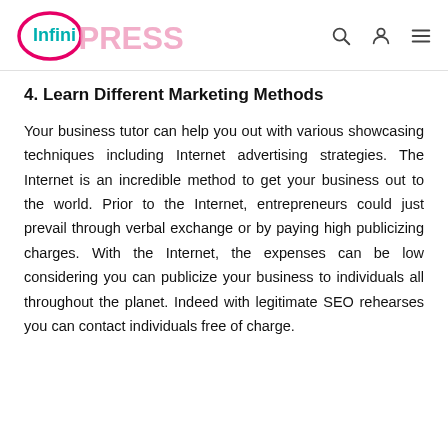InfiniPRESS
4. Learn Different Marketing Methods
Your business tutor can help you out with various showcasing techniques including Internet advertising strategies. The Internet is an incredible method to get your business out to the world. Prior to the Internet, entrepreneurs could just prevail through verbal exchange or by paying high publicizing charges. With the Internet, the expenses can be low considering you can publicize your business to individuals all throughout the planet. Indeed with legitimate SEO rehearses you can contact individuals free of charge.